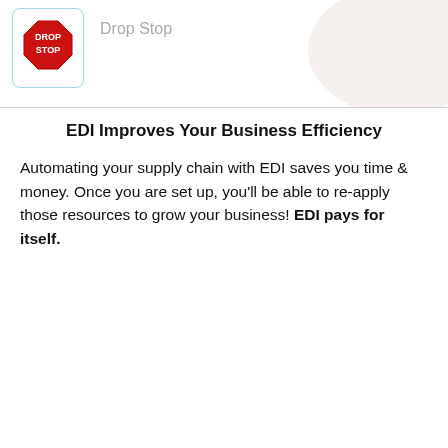[Figure (logo): Drop Stop logo — red octagon stop sign shape with white text 'DROP STOP' inside, in a light blue-bordered rounded box]
Drop Stop
EDI Improves Your Business Efficiency
Automating your supply chain with EDI saves you time & money. Once you are set up, you'll be able to re-apply those resources to grow your business! EDI pays for itself.